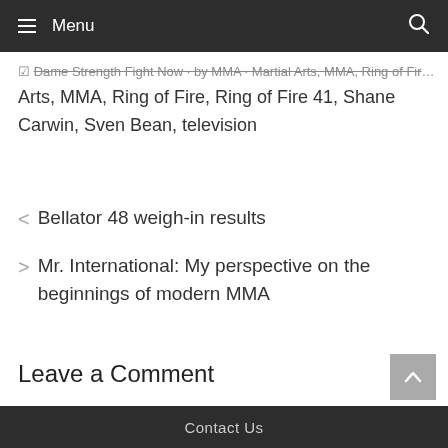Menu
Arts, MMA, Ring of Fire, Ring of Fire 41, Shane Carwin, Sven Bean, television
Bellator 48 weigh-in results
Mr. International: My perspective on the beginnings of modern MMA
Leave a Comment
You must be logged in to post a comment.
Contact Us